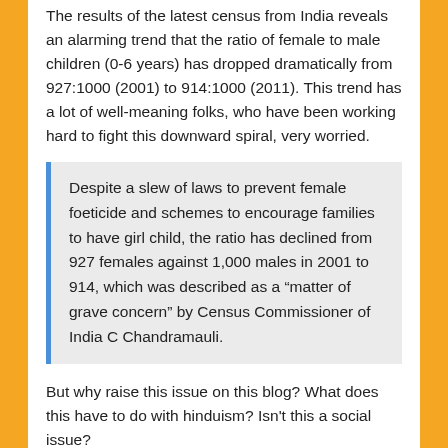The results of the latest census from India reveals an alarming trend that the ratio of female to male children (0-6 years) has dropped dramatically from 927:1000 (2001) to 914:1000 (2011). This trend has a lot of well-meaning folks, who have been working hard to fight this downward spiral, very worried.
Despite a slew of laws to prevent female foeticide and schemes to encourage families to have girl child, the ratio has declined from 927 females against 1,000 males in 2001 to 914, which was described as a “matter of grave concern” by Census Commissioner of India C Chandramauli.
But why raise this issue on this blog? What does this have to do with hinduism? Isn't this a social issue?
Hindu Society and Religion